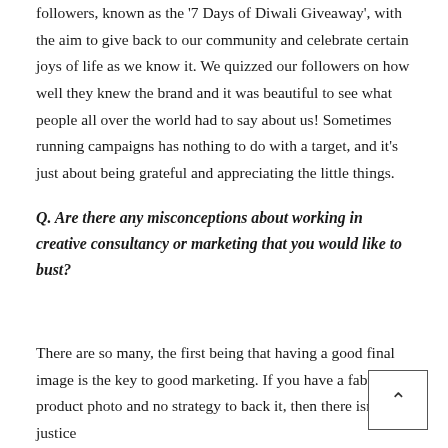followers, known as the '7 Days of Diwali Giveaway', with the aim to give back to our community and celebrate certain joys of life as we know it. We quizzed our followers on how well they knew the brand and it was beautiful to see what people all over the world had to say about us! Sometimes running campaigns has nothing to do with a target, and it's just about being grateful and appreciating the little things.
Q. Are there any misconceptions about working in creative consultancy or marketing that you would like to bust?
There are so many, the first being that having a good final image is the key to good marketing. If you have a fabulous product photo and no strategy to back it, then there isn't any justice